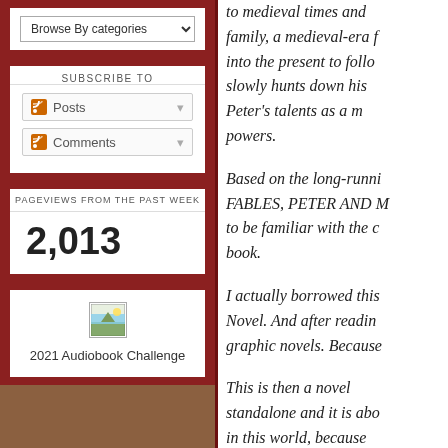Browse By categories
SUBSCRIBE TO
Posts
Comments
PAGEVIEWS FROM THE PAST WEEK
2,013
[Figure (illustration): Small landscape image thumbnail]
2021 Audiobook Challenge
to medieval times and family, a medieval-era f into the present to follo slowly hunts down his Peter's talents as a m powers.
Based on the long-runni FABLES, PETER AND M to be familiar with the c book.
I actually borrowed this Novel. And after readin graphic novels. Because
This is then a novel standalone and it is abo in this world, because